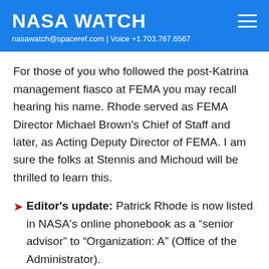NASA WATCH
nasawatch@spaceref.com | Voice +1.703.787.6567
For those of you who followed the post-Katrina management fiasco at FEMA you may recall hearing his name. Rhode served as FEMA Director Michael Brown's Chief of Staff and later, as Acting Deputy Director of FEMA. I am sure the folks at Stennis and Michoud will be thrilled to learn this.
Editor's update: Patrick Rhode is now listed in NASA's online phonebook as a "senior advisor" to "Organization: A" (Office of the Administrator).